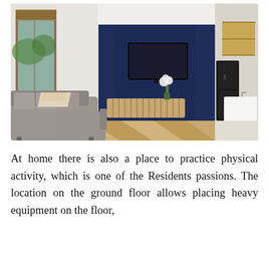[Figure (photo): Interior photo of a modern open-plan living room with a large L-shaped grey sofa, herringbone wood floor, dark navy blue accent wall with a mounted flat-screen TV, a wooden media console with flowers, and a kitchen visible in the background with wooden cabinetry and a black refrigerator. Large floor-to-ceiling windows on the left with a bamboo blind.]
At home there is also a place to practice physical activity, which is one of the Residents passions. The location on the ground floor allows placing heavy equipment on the floor,